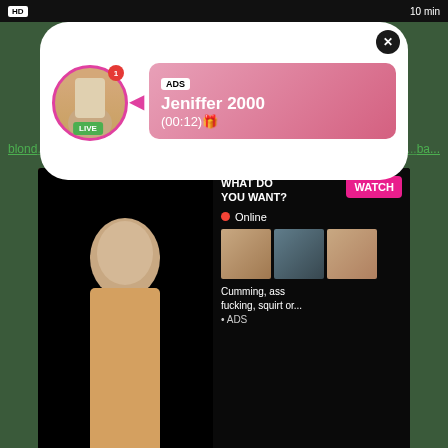[Figure (screenshot): Top video thumbnail bar showing HD badge and 10 min duration on dark background]
[Figure (infographic): Popup ad overlay showing profile photo with LIVE badge, ADS label, name Jeniffer 2000, time (00:12), close button]
blond... ba...
[Figure (screenshot): Video ad card showing woman with text WHAT DO YOU WANT? WATCH button, Online indicator, three thumbnail images, text Cumming, ass fucking, squirt or... • ADS]
HD   5 min
Solo Blonde Chick European Blonde Amateur
european, blonde, amateur, homemade, masturbation, s...
[Figure (screenshot): Bottom dark video thumbnail area]